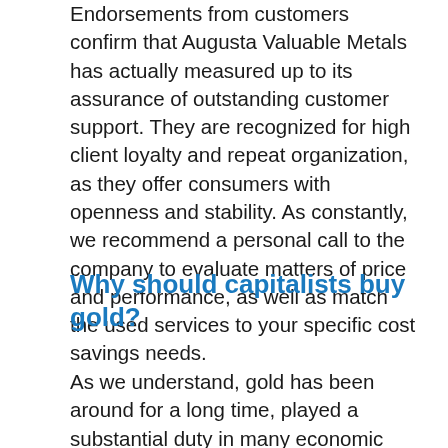Endorsements from customers confirm that Augusta Valuable Metals has actually measured up to its assurance of outstanding customer support. They are recognized for high client loyalty and repeat organization, as they offer consumers with openness and stability. As constantly, we recommend a personal call to the company to evaluate matters of price and performance, as well as match the used services to your specific cost savings needs.
Why should capitalists buy gold?
As we understand, gold has been around for a long time, played a substantial duty in many economic situations as well as has